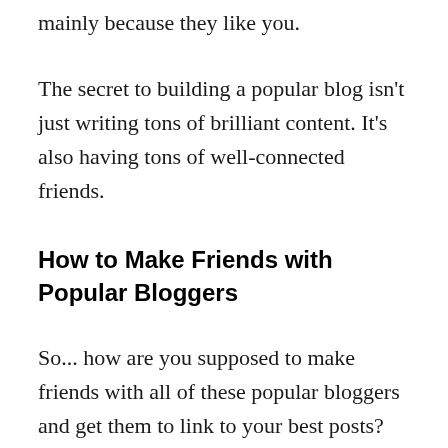mainly because they like you.
The secret to building a popular blog isn't just writing tons of brilliant content. It's also having tons of well-connected friends.
How to Make Friends with Popular Bloggers
So... how are you supposed to make friends with all of these popular bloggers and get them to link to your best posts?
Traditional wisdom says you should link to their posts, hoping they'll notice you and